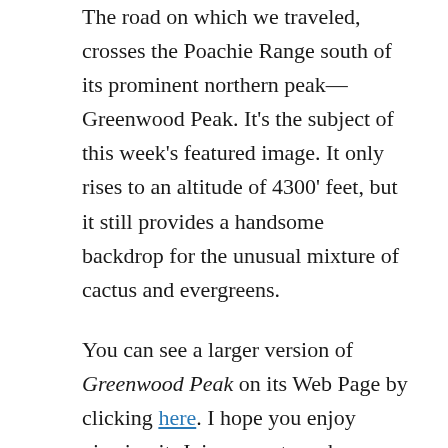The road on which we traveled, crosses the Poachie Range south of its prominent northern peak—Greenwood Peak. It's the subject of this week's featured image. It only rises to an altitude of 4300' feet, but it still provides a handsome backdrop for the unusual mixture of cactus and evergreens.
You can see a larger version of Greenwood Peak on its Web Page by clicking here. I hope you enjoy viewing it. Join us next week as we finish up our trip around the Harquahala Mountains.
Until next time — jw
Share this: